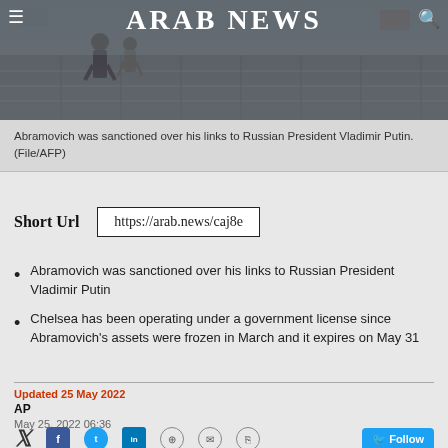ARAB NEWS
[Figure (photo): Newspaper website header photo showing people walking in wet conditions, with Arab News logo overlaid at the top center, hamburger menu icon top-left, search icon top-right]
Abramovich was sanctioned over his links to Russian President Vladimir Putin. (File/AFP)
Short Url   https://arab.news/caj8e
Abramovich was sanctioned over his links to Russian President Vladimir Putin
Chelsea has been operating under a government license since Abramovich's assets were frozen in March and it expires on May 31
Updated 25 May 2022
AP
May 25, 2022 06:36